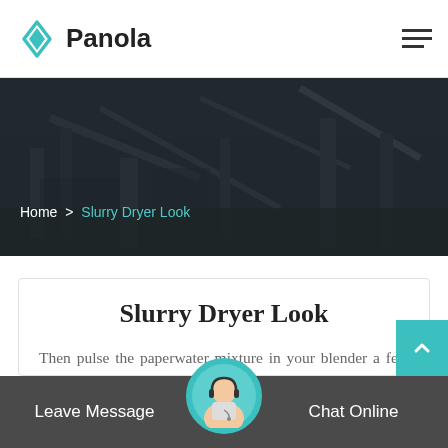Panola
[Figure (screenshot): Dark hero banner with industrial/construction site background image, showing breadcrumb navigation: Home > Slurry Dryer Look]
Slurry Dryer Look
Then pulse the paperwater mixture in your blender a few times until you get a slurry that looks like this or, if you are impatient like meyou can get your hair dryer out and dry i.
Leave Message | Chat Online